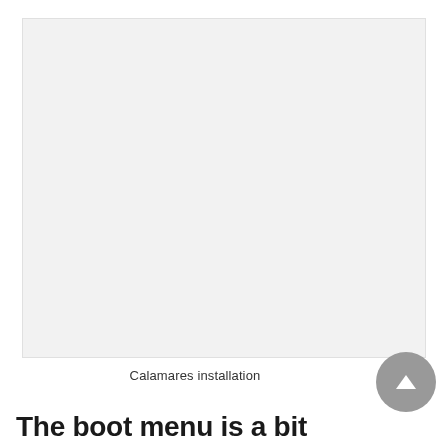[Figure (screenshot): A large light gray rectangular image placeholder representing a Calamares installation screenshot]
Calamares installation
The boot menu is a bit confusing and surely